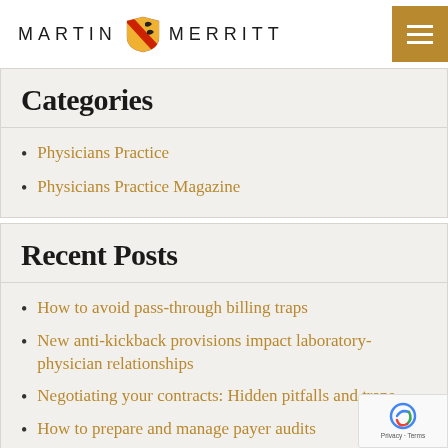MARTIN MERRITT
Categories
Physicians Practice
Physicians Practice Magazine
Recent Posts
How to avoid pass-through billing traps
New anti-kickback provisions impact laboratory-physician relationships
Negotiating your contracts: Hidden pitfalls and traps
How to prepare and manage payer audits